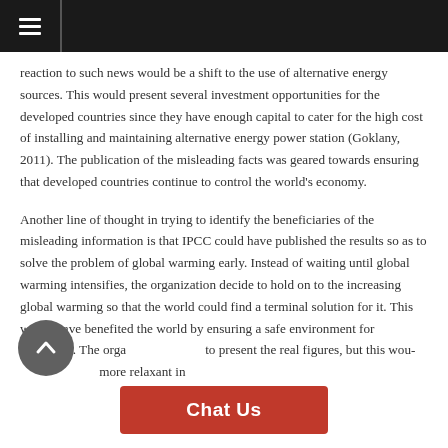reaction to such news would be a shift to the use of alternative energy sources. This would present several investment opportunities for the developed countries since they have enough capital to cater for the high cost of installing and maintaining alternative energy power station (Goklany, 2011). The publication of the misleading facts was geared towards ensuring that developed countries continue to control the world's economy.
Another line of thought in trying to identify the beneficiaries of the misleading information is that IPCC could have published the results so as to solve the problem of global warming early. Instead of waiting until global warming intensifies, the organization decide to hold on to the increasing global warming so that the world could find a terminal solution for it. This would have benefited the world by ensuring a safe environment for habitation. The orga... to present the real figures, but this wou... more relaxant in